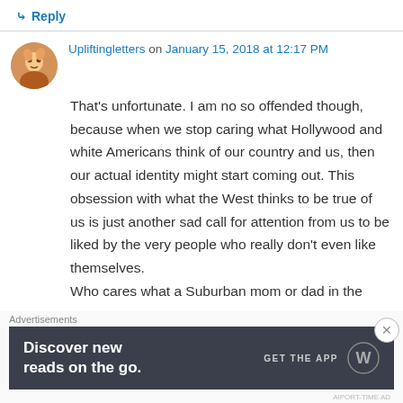↳ Reply
Upliftingletters on January 15, 2018 at 12:17 PM
That's unfortunate. I am no so offended though, because when we stop caring what Hollywood and white Americans think of our country and us, then our actual identity might start coming out. This obsession with what the West thinks to be true of us is just another sad call for attention from us to be liked by the very people who really don't even like themselves.
Who cares what a Suburban mom or dad in the
Advertisements
[Figure (screenshot): Advertisement banner: dark gray background with text 'Discover new reads on the go.' and 'GET THE APP' with WordPress logo]